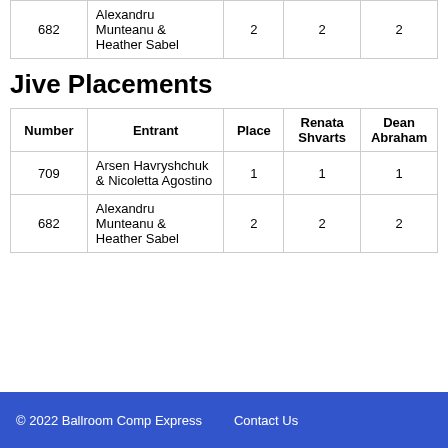| Number | Entrant | Place | Renata Shvarts | Dean Abraham |
| --- | --- | --- | --- | --- |
| 682 | Alexandru Munteanu & Heather Sabel | 2 | 2 | 2 |
Jive Placements
| Number | Entrant | Place | Renata Shvarts | Dean Abraham |
| --- | --- | --- | --- | --- |
| 709 | Arsen Havryshchuk & Nicoletta Agostino | 1 | 1 | 1 |
| 682 | Alexandru Munteanu & Heather Sabel | 2 | 2 | 2 |
© 2022 Ballroom Comp Express    Contact Us